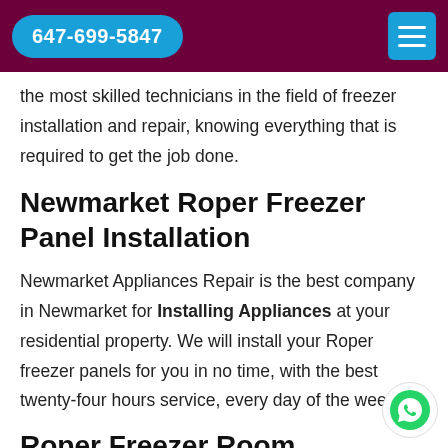647-699-5847
the most skilled technicians in the field of freezer installation and repair, knowing everything that is required to get the job done.
Newmarket Roper Freezer Panel Installation
Newmarket Appliances Repair is the best company in Newmarket for Installing Appliances at your residential property. We will install your Roper freezer panels for you in no time, with the best twenty-four hours service, every day of the week.
Roper Freezer Room Installati…